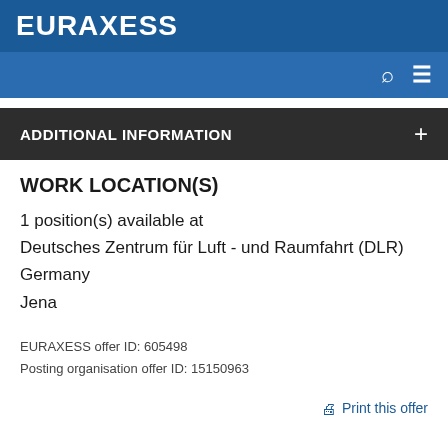EURAXESS
ADDITIONAL INFORMATION
WORK LOCATION(S)
1 position(s) available at
Deutsches Zentrum für Luft - und Raumfahrt (DLR)
Germany
Jena
EURAXESS offer ID: 605498
Posting organisation offer ID: 15150963
Print this offer